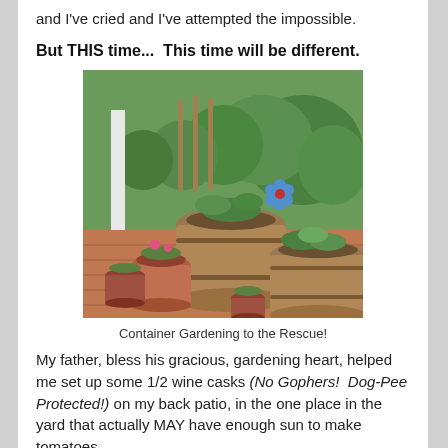and I've cried and I've attempted the impossible.
But THIS time...  This time will be different.
[Figure (photo): Container garden on a brick patio with several large wine cask planters and smaller terracotta pots filled with vegetables and flowers, with a lush green garden in the background.]
Container Gardening to the Rescue!
My father, bless his gracious, gardening heart, helped me set up some 1/2 wine casks (No Gophers!  Dog-Pee Protected!) on my back patio, in the one place in the yard that actually MAY have enough sun to make tomatoes